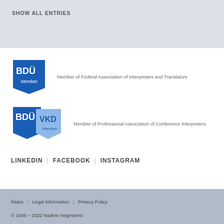SHOW ALL ENTRIES
[Figure (logo): BDÜ Member badge - blue logo with text BDÜ and Member]
Member of Federal Association of Interpreters and Translators
[Figure (logo): BDÜ VKD Member badge - blue logo with text BDÜ and VKD Member]
Member of Professional Association of Conference Interpreters
LINKEDIN | FACEBOOK | INSTAGRAM
Rates | Legal Information | Privacy Policy
© 2006 – 2022 Nadine Hegmanns